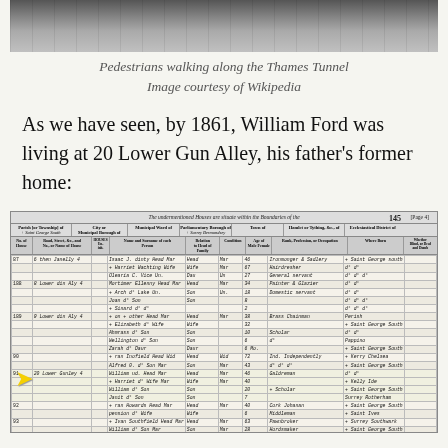[Figure (photo): Historical black-and-white photograph showing pedestrians walking along the Thames Tunnel interior.]
Pedestrians walking along the Thames Tunnel
Image courtesy of Wikipedia
As we have seen, by 1861, William Ford was living at 20 Lower Gun Alley, his father's former home:
[Figure (table-as-image): 1861 census record showing William Ford and family at 20 Lower Gun Alley, with a yellow arrow pointing to the relevant entry. The census document is numbered 145 and shows columns for Parish, Borough, Ward, Parliamentary Borough, Town, Hamlet, Ecclesiastical District, House number, Head/member names, Relation to Head, Condition, Age, Rank/Profession/Occupation, Where Born, and Whether blind or deaf-mute.]